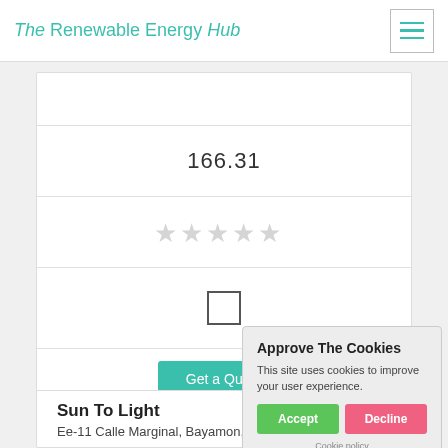The Renewable Energy Hub
166.31
[Figure (other): Five empty star rating icons in light gray]
[Figure (other): An empty checkbox/square UI element]
Get a Quote
Approve The Cookies
This site uses cookies to improve your user experience.
Accept
Decline
Cookie policy
Sun To Light
Ee-11 Calle Marginal, Bayamon, 00961